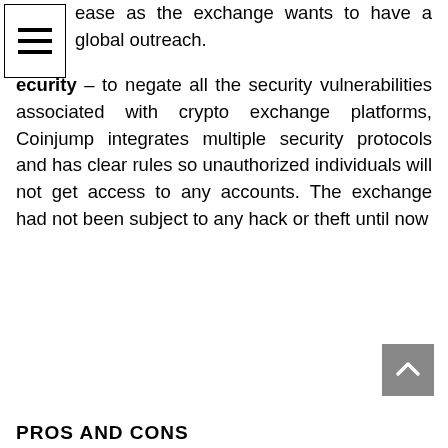ease as the exchange wants to have a global outreach.
Security – to negate all the security vulnerabilities associated with crypto exchange platforms, Coinjump integrates multiple security protocols and has clear rules so unauthorized individuals will not get access to any accounts. The exchange had not been subject to any hack or theft until now
PROS AND CONS